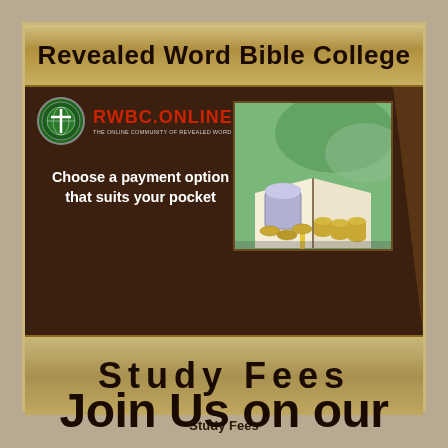Revealed Word Bible College
[Figure (infographic): RWBC.ONLINE logo with circle emblem on left, coins and open bible photo on right, text 'Choose a payment option that suits your pocket' in center-left on dark brown background]
Study  Fees
Study Fees
Join Us on our